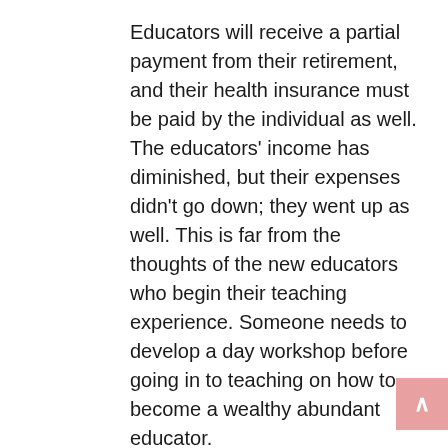Educators will receive a partial payment from their retirement, and their health insurance must be paid by the individual as well. The educators' income has diminished, but their expenses didn't go down; they went up as well. This is far from the thoughts of the new educators who begin their teaching experience. Someone needs to develop a day workshop before going in to teaching on how to become a wealthy abundant educator.
https://digital.newberry.org/scalar/nellie/instant-download-blockchain-cbdh-pdf-dumps-promised-success
https://digital.newberry.org/scalar/nellie/verified-cbbf-pdf-dumps-assure-achievement-in-cbbf-